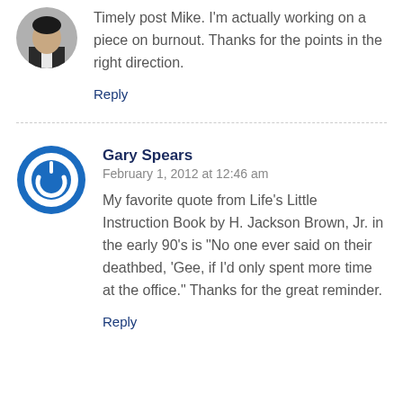[Figure (photo): Circular avatar photo of a person in a suit, partially cropped at the top]
Timely post Mike. I'm actually working on a piece on burnout. Thanks for the points in the right direction.
Reply
Gary Spears
February 1, 2012 at 12:46 am
[Figure (logo): Blue circular power button icon used as avatar for Gary Spears]
My favorite quote from Life's Little Instruction Book by H. Jackson Brown, Jr. in the early 90's is "No one ever said on their deathbed, 'Gee, if I'd only spent more time at the office." Thanks for the great reminder.
Reply